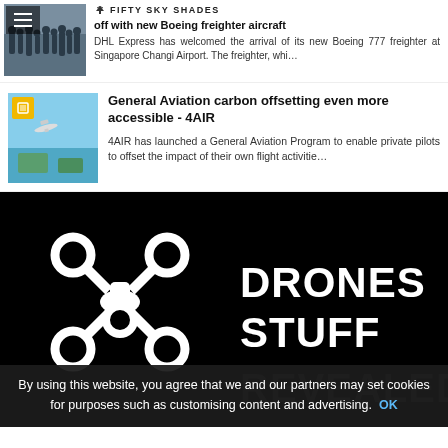off with new Boeing freighter aircraft
[Figure (photo): Group of people / crowd thumbnail image for DHL Boeing article]
[Figure (logo): Fifty Sky Shades logo with airplane icon and text FIFTY SKY SHADES]
DHL Express has welcomed the arrival of its new Boeing 777 freighter at Singapore Changi Airport. The freighter, whi…
General Aviation carbon offsetting even more accessible - 4AIR
[Figure (photo): Aerial blue sky photo with small aircraft, thumbnail for 4AIR article]
4AIR has launched a General Aviation Program to enable private pilots to offset the impact of their own flight activitie…
[Figure (logo): Drones Stuff Revealed logo — white drone icon and text DRONES STUFF REVEALED on black background]
By using this website, you agree that we and our partners may set cookies for purposes such as customising content and advertising. OK